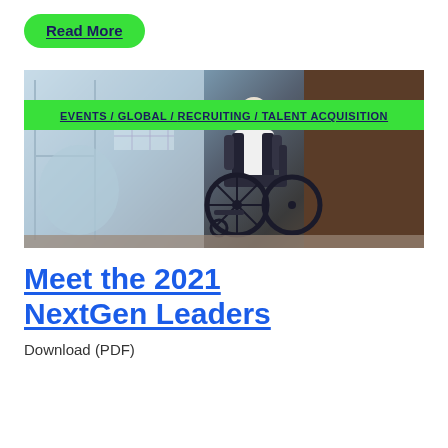Read More
[Figure (photo): Person in a wheelchair near glass doors in an office or building environment. A green banner overlays the image with category tags.]
EVENTS / GLOBAL / RECRUITING / TALENT ACQUISITION
Meet the 2021 NextGen Leaders
Download (PDF)